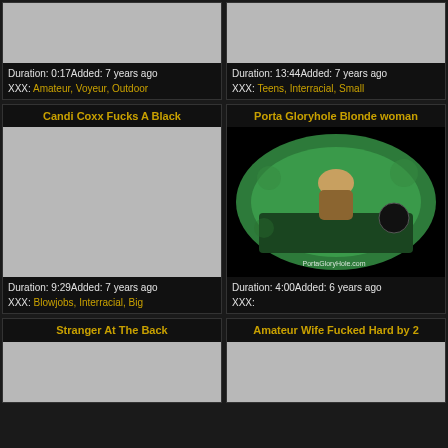[Figure (screenshot): Video thumbnail placeholder - gray]
Duration: 0:17Added: 7 years ago
XXX: Amateur, Voyeur, Outdoor
[Figure (screenshot): Video thumbnail placeholder - gray]
Duration: 13:44Added: 7 years ago
XXX: Teens, Interracial, Small
Candi Coxx Fucks A Black
[Figure (screenshot): Video thumbnail placeholder - gray]
Duration: 9:29Added: 7 years ago
XXX: Blowjobs, Interracial, Big
Porta Gloryhole Blonde woman
[Figure (photo): Woman in green porta gloryhole booth, overhead view, watermark PortaGloryhole.com]
Duration: 4:00Added: 6 years ago
XXX:
Stranger At The Back
[Figure (screenshot): Video thumbnail placeholder - gray]
Amateur Wife Fucked Hard by 2
[Figure (screenshot): Video thumbnail placeholder - gray]